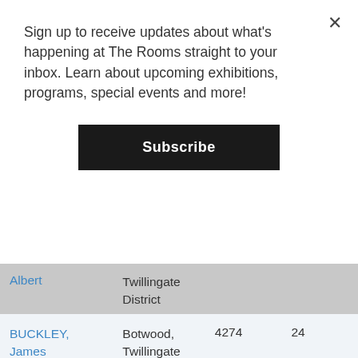Sign up to receive updates about what's happening at The Rooms straight to your inbox. Learn about upcoming exhibitions, programs, special events and more!
Subscribe
| Name | Location | Col3 | Col4 |
| --- | --- | --- | --- |
| Albert | Twillingate District |  |  |
| BUCKLEY, James | Botwood, Twillingate District | 4274 | 24 |
| ABBOTT, Harold | Doting Cove, Fogo District | 5213 | 19 |
| STONE, Thomas W. | Horwood, Fogo District | 3660 | 27 |